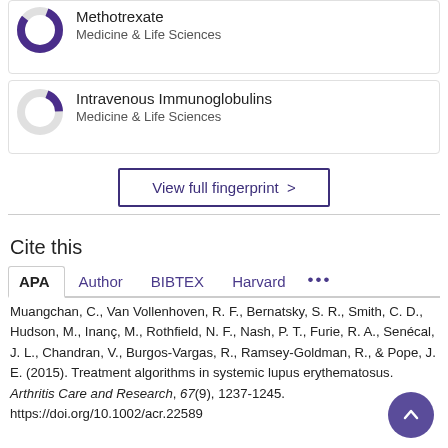[Figure (donut-chart): Donut chart for Methotrexate, mostly filled purple arc]
Methotrexate
Medicine & Life Sciences
[Figure (donut-chart): Donut chart for Intravenous Immunoglobulins, small purple arc]
Intravenous Immunoglobulins
Medicine & Life Sciences
View full fingerprint >
Cite this
APA  Author  BIBTEX  Harvard  ...
Muangchan, C., Van Vollenhoven, R. F., Bernatsky, S. R., Smith, C. D., Hudson, M., Inanç, M., Rothfield, N. F., Nash, P. T., Furie, R. A., Senécal, J. L., Chandran, V., Burgos-Vargas, R., Ramsey-Goldman, R., & Pope, J. E. (2015). Treatment algorithms in systemic lupus erythematosus. Arthritis Care and Research, 67(9), 1237-1245. https://doi.org/10.1002/acr.22589